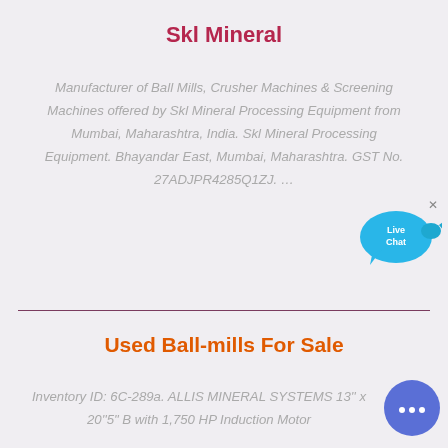Skl Mineral
Manufacturer of Ball Mills, Crusher Machines & Screening Machines offered by Skl Mineral Processing Equipment from Mumbai, Maharashtra, India. Skl Mineral Processing Equipment. Bhayandar East, Mumbai, Maharashtra. GST No. 27ADJPR4285Q1ZJ. …
Used Ball-mills For Sale
Inventory ID: 6C-289a. ALLIS MINERAL SYSTEMS 13'' x 20''5" B with 1,750 HP Induction Motor